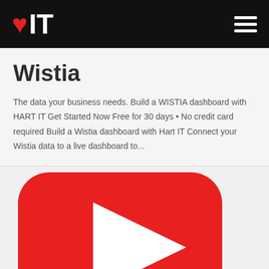❤IT (logo with hamburger menu)
Wistia
The data your business needs. Build a WISTIA dashboard with HART IT Get Started Now Free for 30 days • No credit card required Build a Wistia dashboard with Hart IT Connect your Wistia data to a live dashboard to...
[Figure (other): YouTube-style red play button icon, partially cropped at bottom of page]